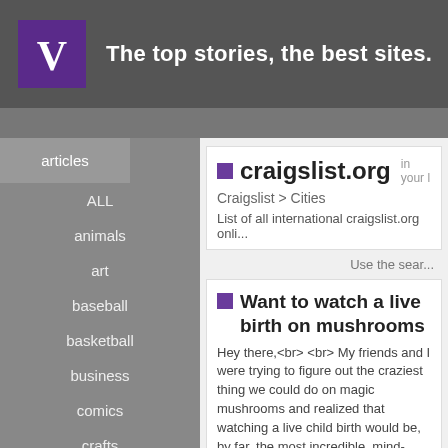The top stories, the best sites.
articles
ALL
animals
art
baseball
basketball
business
comics
crafts
entertainment
family
craigslist.org
Craigslist > Cities
List of all international craigslist.org onli...
Use the sear...
Want to watch a live birth on mushrooms
Hey there,<br> <br> My friends and I were trying to figure out the craziest thing we could do on magic mushrooms and realized that watching a live child birth would be, by far, the most incredible, mind-blowing experience that we could